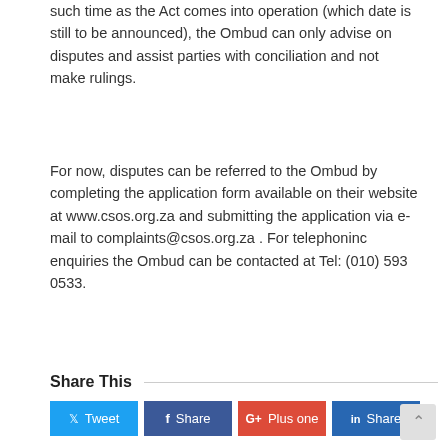such time as the Act comes into operation (which date is still to be announced), the Ombud can only advise on disputes and assist parties with conciliation and not make rulings.
For now, disputes can be referred to the Ombud by completing the application form available on their website at www.csos.org.za and submitting the application via e-mail to complaints@csos.org.za . For telephoninc enquiries the Ombud can be contacted at Tel: (010) 593 0533.
[Figure (other): Download PDF Version button (golden/amber colored rectangular button)]
Share This
[Figure (other): Social sharing buttons: Tweet (blue), Share (dark blue Facebook), Plus one (red Google+), Share (dark blue LinkedIn)]